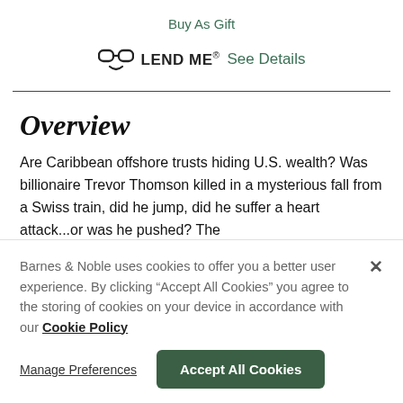Buy As Gift
LEND ME® See Details
Overview
Are Caribbean offshore trusts hiding U.S. wealth? Was billionaire Trevor Thomson killed in a mysterious fall from a Swiss train, did he jump, did he suffer a heart attack...or was he pushed? The
Barnes & Noble uses cookies to offer you a better user experience. By clicking "Accept All Cookies" you agree to the storing of cookies on your device in accordance with our Cookie Policy
Manage Preferences
Accept All Cookies